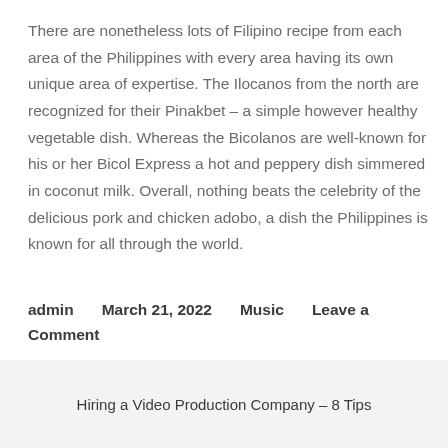There are nonetheless lots of Filipino recipe from each area of the Philippines with every area having its own unique area of expertise. The Ilocanos from the north are recognized for their Pinakbet – a simple however healthy vegetable dish. Whereas the Bicolanos are well-known for his or her Bicol Express a hot and peppery dish simmered in coconut milk. Overall, nothing beats the celebrity of the delicious pork and chicken adobo, a dish the Philippines is known for all through the world.
admin   March 21, 2022   Music   Leave a Comment
Hiring a Video Production Company – 8 Tips